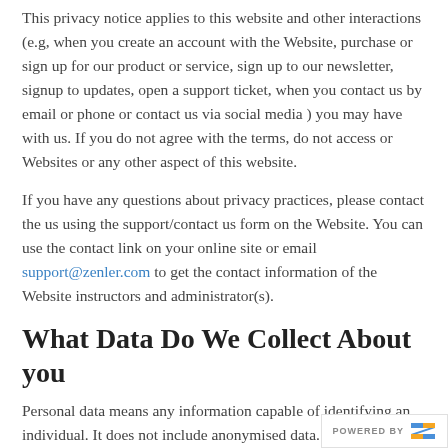This privacy notice applies to this website and other interactions (e.g, when you create an account with the Website, purchase or sign up for our product or service, sign up to our newsletter, signup to updates, open a support ticket, when you contact us by email or phone or contact us via social media ) you may have with us. If you do not agree with the terms, do not access or Websites or any other aspect of this website.
If you have any questions about privacy practices, please contact the us using the support/contact us form on the Website. You can use the contact link on your online site or email support@zenler.com to get the contact information of the Website instructors and administrator(s).
What Data Do We Collect About you
Personal data means any information capable of identifying an individual. It does not include anonymised data. We may collect and process your personal data in a